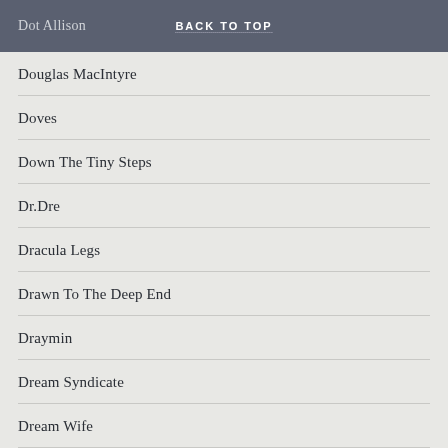Dot Allison | BACK TO TOP
Douglas MacIntyre
Doves
Down The Tiny Steps
Dr.Dre
Dracula Legs
Drawn To The Deep End
Draymin
Dream Syndicate
Dream Wife
Drever McCusker Woomble
Drugstore
Dry Cleaning